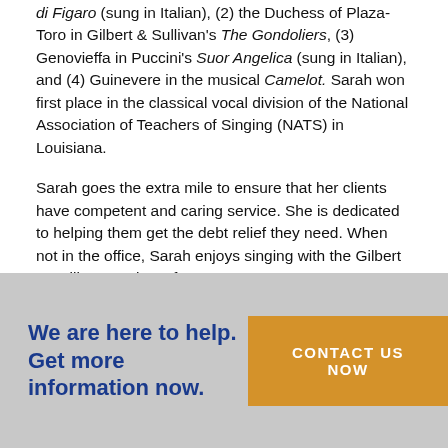di Figaro (sung in Italian), (2) the Duchess of Plaza-Toro in Gilbert & Sullivan's The Gondoliers, (3) Genovieffa in Puccini's Suor Angelica (sung in Italian), and (4) Guinevere in the musical Camelot. Sarah won first place in the classical vocal division of the National Association of Teachers of Singing (NATS) in Louisiana.
Sarah goes the extra mile to ensure that her clients have competent and caring service. She is dedicated to helping them get the debt relief they need. When not in the office, Sarah enjoys singing with the Gilbert & Sullivan Society of Houston.
We are here to help. Get more information now.
CONTACT US NOW